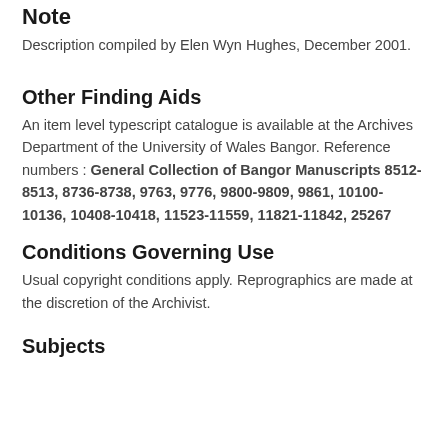Note
Description compiled by Elen Wyn Hughes, December 2001.
Other Finding Aids
An item level typescript catalogue is available at the Archives Department of the University of Wales Bangor. Reference numbers : General Collection of Bangor Manuscripts 8512-8513, 8736-8738, 9763, 9776, 9800-9809, 9861, 10100-10136, 10408-10418, 11523-11559, 11821-11842, 25267
Conditions Governing Use
Usual copyright conditions apply. Reprographics are made at the discretion of the Archivist.
Subjects